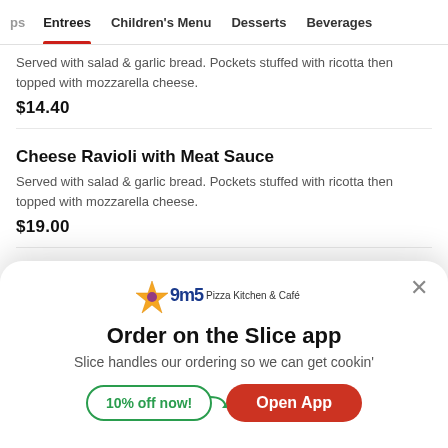ps  Entrees  Children's Menu  Desserts  Beverages
Served with salad & garlic bread. Pockets stuffed with ricotta then topped with mozzarella cheese.
$14.40
Cheese Ravioli with Meat Sauce
Served with salad & garlic bread. Pockets stuffed with ricotta then topped with mozzarella cheese.
$19.00
Che—
[Figure (logo): 9M5 Pizza Kitchen & Café logo with colorful star graphic]
Order on the Slice app
Slice handles our ordering so we can get cookin'
10% off now!
Open App